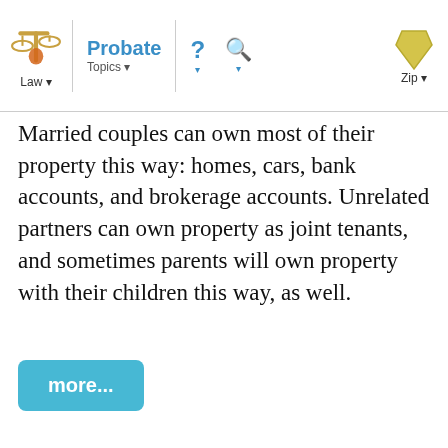Law | Probate Topics | ? | Search | Zip
Married couples can own most of their property this way: homes, cars, bank accounts, and brokerage accounts. Unrelated partners can own property as joint tenants, and sometimes parents will own property with their children this way, as well.
more...